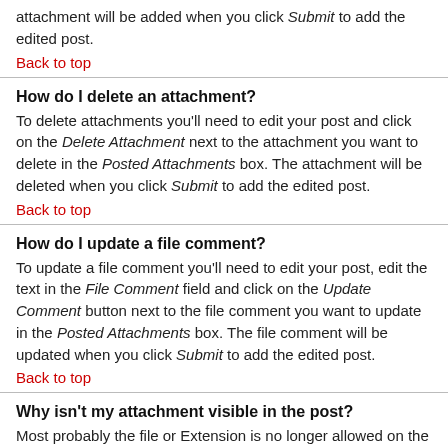attachment will be added when you click Submit to add the edited post.
Back to top
How do I delete an attachment?
To delete attachments you'll need to edit your post and click on the Delete Attachment next to the attachment you want to delete in the Posted Attachments box. The attachment will be deleted when you click Submit to add the edited post.
Back to top
How do I update a file comment?
To update a file comment you'll need to edit your post, edit the text in the File Comment field and click on the Update Comment button next to the file comment you want to update in the Posted Attachments box. The file comment will be updated when you click Submit to add the edited post.
Back to top
Why isn't my attachment visible in the post?
Most probably the file or Extension is no longer allowed on the forum, or a moderator or administrator has deleted it for being in conflict with the boards acceptance of use policy.
Back to top